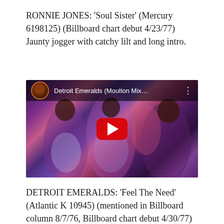RONNIE JONES: 'Soul Sister' (Mercury 6198125) (Billboard chart debut 4/23/77) Jaunty jogger with catchy lilt and long intro.
[Figure (screenshot): YouTube video thumbnail showing Detroit Emeralds (Moulton Mix...) with colorful painted dancers in the background, a red YouTube play button in the center, and a channel avatar in the top-left corner.]
DETROIT EMERALDS: 'Feel The Need' (Atlantic K 10945) (mentioned in Billboard column 8/7/76, Billboard chart debut 4/30/77)